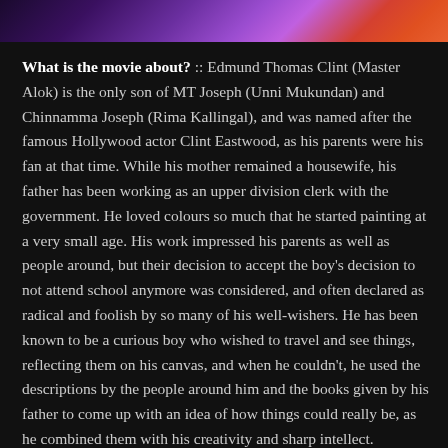[Figure (illustration): Dark decorative banner at top of page with purple, violet and orange gradient colors suggesting a movie promotional image.]
What is the movie about? :: Edmund Thomas Clint (Master Alok) is the only son of MT Joseph (Unni Mukundan) and Chinnamma Joseph (Rima Kallingal), and was named after the famous Hollywood actor Clint Eastwood, as his parents were his fan at that time. While his mother remained a housewife, his father has been working as an upper division clerk with the government. He loved colours so much that he started painting at a very small age. His work impressed his parents as well as people around, but their decision to accept the boy's decision to not attend school anymore was considered, and often declared as radical and foolish by so many of his well-wishers. He has been known to be a curious boy who wished to travel and see things, reflecting them on his canvas, and when he couldn't, he used the descriptions by the people around him and the books given by his father to come up with an idea of how things could really be, as he combined them with his creativity and sharp intellect.